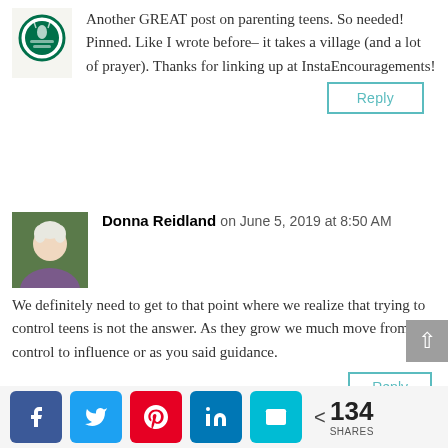Another GREAT post on parenting teens. So needed! Pinned. Like I wrote before– it takes a village (and a lot of prayer). Thanks for linking up at InstaEncouragements!
Reply
Donna Reidland on June 5, 2019 at 8:50 AM
We definitely need to get to that point where we realize that trying to control teens is not the answer. As they grow we much move from control to influence or as you said guidance.
Reply
134 SHARES